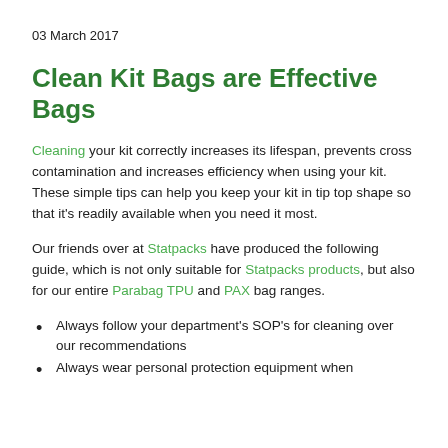03 March 2017
Clean Kit Bags are Effective Bags
Cleaning your kit correctly increases its lifespan, prevents cross contamination and increases efficiency when using your kit. These simple tips can help you keep your kit in tip top shape so that it’s readily available when you need it most.
Our friends over at Statpacks have produced the following guide, which is not only suitable for Statpacks products, but also for our entire Parabag TPU and PAX bag ranges.
Always follow your department’s SOP’s for cleaning over our recommendations
Always wear personal protection equipment when